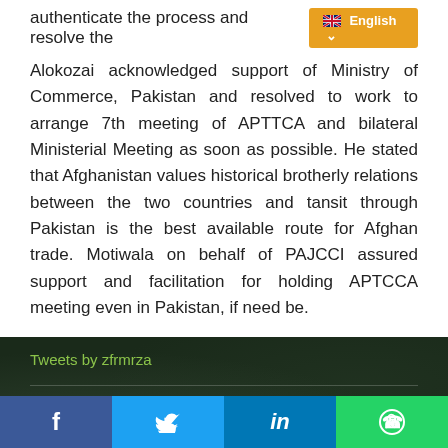authenticate the process and resolve the
Alokozai acknowledged support of Ministry of Commerce, Pakistan and resolved to work to arrange 7th meeting of APTTCA and bilateral Ministerial Meeting as soon as possible. He stated that Afghanistan values historical brotherly relations between the two countries and tansit through Pakistan is the best available route for Afghan trade. Motiwala on behalf of PAJCCI assured support and facilitation for holding APTCCA meeting even in Pakistan, if need be.
Tweets by zfrmrza
ATTACHED ORGANIZATIONS
Copyright 2018 Ministry of Commerce, Government of Pakistan, Block-A, Pak Secretariat Islamabad, Phone: +92 (051) 9208692